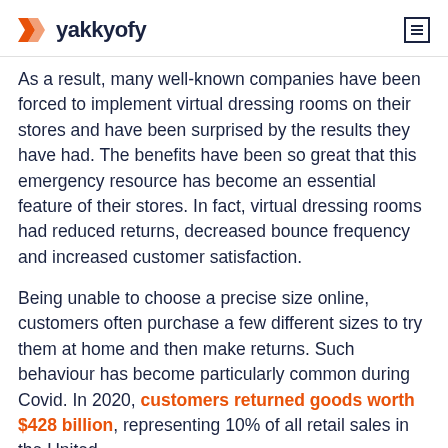yakkyofy
As a result, many well-known companies have been forced to implement virtual dressing rooms on their stores and have been surprised by the results they have had. The benefits have been so great that this emergency resource has become an essential feature of their stores. In fact, virtual dressing rooms had reduced returns, decreased bounce frequency and increased customer satisfaction.
Being unable to choose a precise size online, customers often purchase a few different sizes to try them at home and then make returns. Such behaviour has become particularly common during Covid. In 2020, customers returned goods worth $428 billion, representing 10% of all retail sales in the United